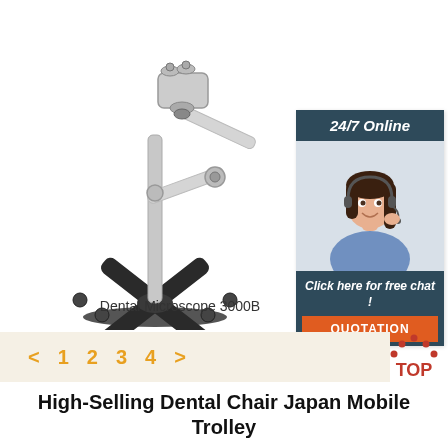[Figure (photo): Dental Microscope 3000B on a floor stand with black X-base and wheels, white articulating arm]
Dental Microscope 3000B
[Figure (infographic): 24/7 Online chat widget with a female customer service representative wearing a headset, and a QUOTATION button. Text: Click here for free chat!]
< 1 2 3 4 >
High-Selling Dental Chair Japan Mobile Trolley